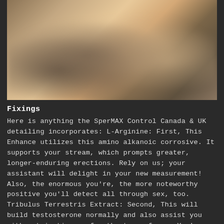[Figure (photo): Blurred/obscured photo of people, warm tones, partially visible figures]
Fixings
Here is anything the SperMAX Control Canada & UK detailing incorporates: L-Arginine: First, This Enhance utilizes this amino alkanoic corrosive. It supports your stream, which prompts greater, longer-enduring erections. Rely on us; your assistant will delight in your new measurement! Also, the enormous you're, the more noteworthy positive you'll detect all through sex, too. Tribulus Terrestris Extract: Second, This will build testosterone normally and also assist you with extricating up for the term of sex. You're done demolishing your